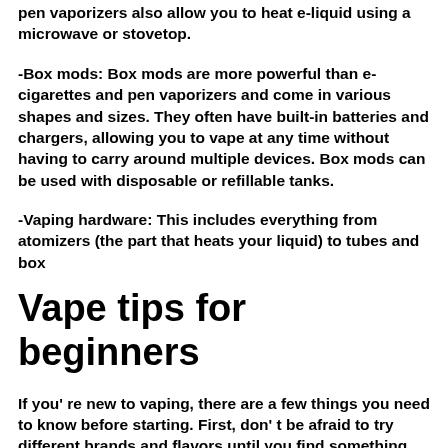pen vaporizers also allow you to heat e-liquid using a microwave or stovetop.
-Box mods: Box mods are more powerful than e-cigarettes and pen vaporizers and come in various shapes and sizes. They often have built-in batteries and chargers, allowing you to vape at any time without having to carry around multiple devices. Box mods can be used with disposable or refillable tanks.
-Vaping hardware: This includes everything from atomizers (the part that heats your liquid) to tubes and box
Vape tips for beginners
If you're new to vaping, there are a few things you need to know before starting. First, don't be afraid to try different brands and flavors until you find something